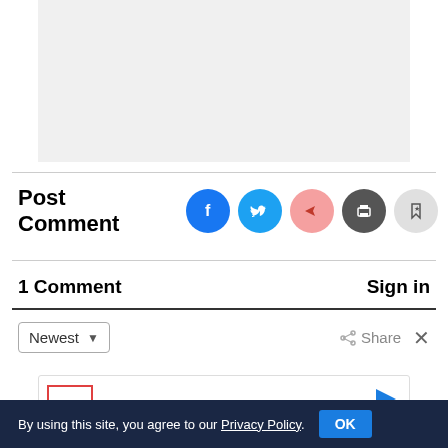[Figure (other): Gray placeholder image box at top of page]
Post Comment
[Figure (other): Social sharing icons: Facebook (blue circle), Twitter (light blue circle), Share/forward (pink circle), Print (dark gray circle), Bookmark (light gray circle)]
1 Comment
Sign in
Newest
Share
By using this site, you agree to our Privacy Policy.